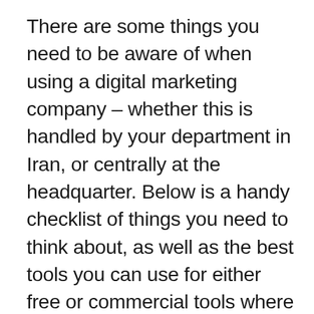There are some things you need to be aware of when using a digital marketing company – whether this is handled by your department in Iran, or centrally at the headquarter. Below is a handy checklist of things you need to think about, as well as the best tools you can use for either free or commercial tools where free alternatives are not available or significantly inferior to the commercial ones.